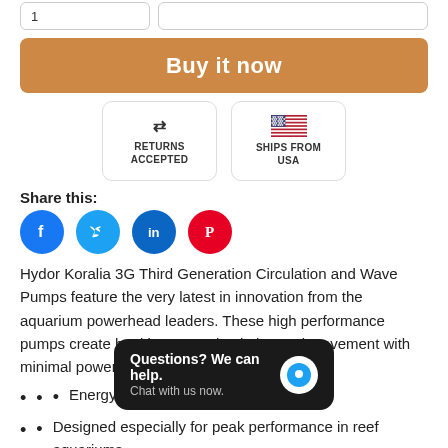[Figure (screenshot): Quantity input box showing '1' and a blank input box side by side]
[Figure (screenshot): Orange 'Buy it now' button]
[Figure (infographic): Two badges: 'Returns Accepted' with arrows icon, and 'Ships From USA' with US flag]
Share this:
[Figure (infographic): Social media icons: Facebook (blue circle f), Twitter (blue circle bird), LinkedIn (blue circle in), Pinterest (red circle P)]
Hydor Koralia 3G Third Generation Circulation and Wave Pumps feature the very latest in innovation from the aquarium powerhead leaders. These high performance pumps create healthy water circulation and movement with minimal power use and easy maintenance.
Energy efficient ... ve pump
Designed especially for peak performance in reef aquariums
Anti-vibration high-output air blade...
[Figure (screenshot): Chat overlay popup: 'Questions? We can help. Chat with us now.' with a blue chat bubble button]